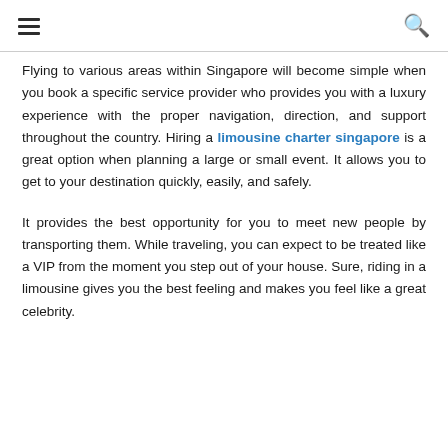≡  🔍
Flying to various areas within Singapore will become simple when you book a specific service provider who provides you with a luxury experience with the proper navigation, direction, and support throughout the country. Hiring a limousine charter singapore is a great option when planning a large or small event. It allows you to get to your destination quickly, easily, and safely.
It provides the best opportunity for you to meet new people by transporting them. While traveling, you can expect to be treated like a VIP from the moment you step out of your house. Sure, riding in a limousine gives you the best feeling and makes you feel like a great celebrity.